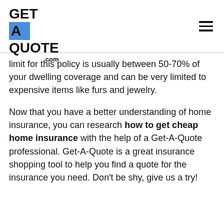GET A QUOTE .com
limit for this policy is usually between 50-70% of your dwelling coverage and can be very limited to expensive items like furs and jewelry.
Now that you have a better understanding of home insurance, you can research how to get cheap home insurance with the help of a Get-A-Quote professional. Get-A-Quote is a great insurance shopping tool to help you find a quote for the insurance you need. Don't be shy, give us a try!